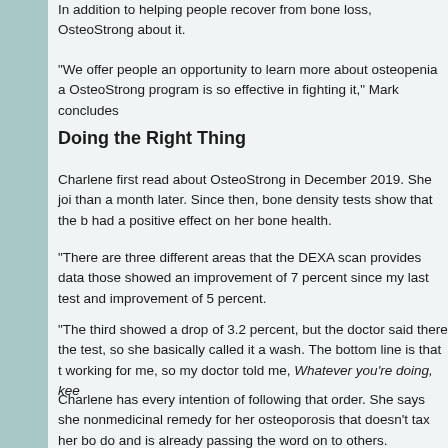In addition to helping people recover from bone loss, OsteoStrong about it.
“We offer people an opportunity to learn more about osteopenia a OsteoStrong program is so effective in fighting it,” Mark concludes
Doing the Right Thing
Charlene first read about OsteoStrong in December 2019. She joi than a month later. Since then, bone density tests show that the b had a positive effect on her bone health.
“There are three different areas that the DEXA scan provides data those showed an improvement of 7 percent since my last test and improvement of 5 percent.
“The third showed a drop of 3.2 percent, but the doctor said there the test, so she basically called it a wash. The bottom line is that t working for me, so my doctor told me, Whatever you’re doing, kee
Charlene has every intention of following that order. She says she nonmedicinal remedy for her osteoporosis that doesn’t tax her bo do and is already passing the word on to others.